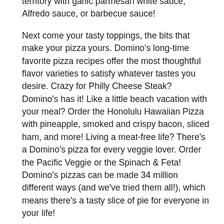territory with garlic parmesan white sauce, Alfredo sauce, or barbecue sauce!
Next come your tasty toppings, the bits that make your pizza yours. Domino's long-time favorite pizza recipes offer the most thoughtful flavor varieties to satisfy whatever tastes you desire. Crazy for Philly Cheese Steak? Domino's has it! Like a little beach vacation with your meal? Order the Honolulu Hawaiian Pizza with pineapple, smoked and crispy bacon, sliced ham, and more! Living a meat-free life? There's a Domino's pizza for every veggie lover. Order the Pacific Veggie or the Spinach & Feta! Domino's pizzas can be made 34 million different ways (and we've tried them all!), which means there's a tasty slice of pie for everyone in your life!
You can custom build your own pizza creation, too. The Pizza Builder puts the power of pizza in your hands! Pick the pizza, size, crust type, cheese amount, and any topping that looks too good to pass up. The pizza possibilities are never-ending! After all, love comes in all shapes and slices! Add desserts, bread twists, dipping sauces, and drinks to make it a complete meal. Wrap up your order and get ready. It's okay to drool a little bit. Deliciousness is about to be ready for delivery or takeout in